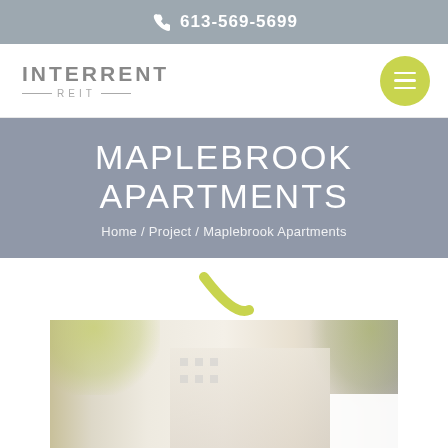613-569-5699
[Figure (logo): InterRent REIT logo with grey text and horizontal rules]
MAPLEBROOK APARTMENTS
Home / Project / Maplebrook Apartments
[Figure (illustration): Green curved decorative accent element]
[Figure (photo): Exterior photo of Maplebrook Apartments building with trees and foliage]